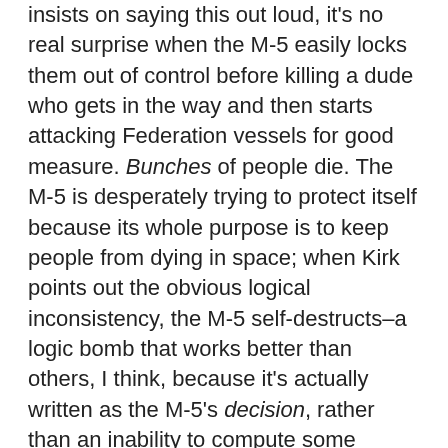insists on saying this out loud, it's no real surprise when the M-5 easily locks them out of control before killing a dude who gets in the way and then starts attacking Federation vessels for good measure. Bunches of people die. The M-5 is desperately trying to protect itself because its whole purpose is to keep people from dying in space; when Kirk points out the obvious logical inconsistency, the M-5 self-destructs–a logic bomb that works better than others, I think, because it's actually written as the M-5's decision, rather than an inability to compute some paradox it would totally be able to compute. Then Kirk saves the day by relying on human intuition, and everything ends happily . . . except for Dr. Richard Daystrum, that is, who created the M-5 and has a full breakdown.
Some things I enjoy: the M-5 was created with human